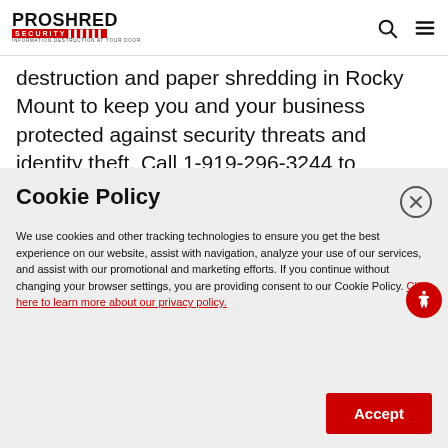[Figure (logo): PROSHRED SECURITY logo with red security bar and tagline 'Information Destruction at Your Door']
destruction and paper shredding in Rocky Mount to keep you and your business protected against security threats and identity theft. Call 1-919-296-3244 to schedule a shredding service in Rocky
Cookie Policy
We use cookies and other tracking technologies to ensure you get the best experience on our website, assist with navigation, analyze your use of our services, and assist with our promotional and marketing efforts. If you continue without changing your browser settings, you are providing consent to our Cookie Policy. Click here to learn more about our privacy policy.